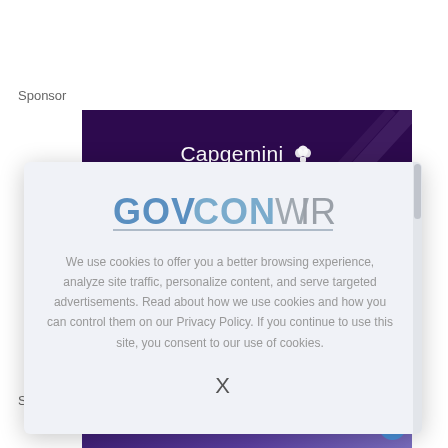Sponsor
[Figure (logo): Capgemini logo on dark purple banner with white text and tree icon]
[Figure (logo): GovConWire logo with blue and gray text and underline]
We use cookies to offer you a better browsing experience, analyze site traffic, personalize content, and serve targeted advertisements. Read about how we use cookies and how you can control them on our Privacy Policy. If you continue to use this site, you consent to our use of cookies.
X
S
[Figure (illustration): Partial purple/blue banner at bottom of page]